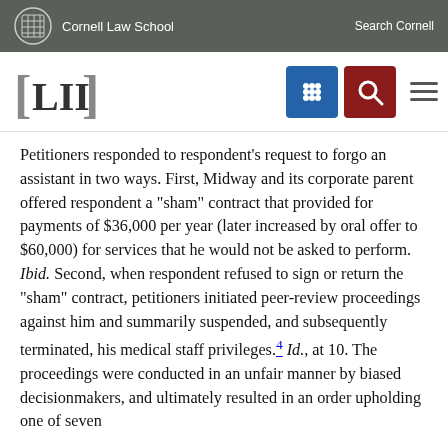Cornell Law School | Search Cornell
[Figure (logo): LII (Legal Information Institute) navigation bar with Cornell Law School branding, search and menu icons]
Petitioners responded to respondent's request to forgo an assistant in two ways. First, Midway and its corporate parent offered respondent a "sham" contract that provided for payments of $36,000 per year (later increased by oral offer to $60,000) for services that he would not be asked to perform. Ibid. Second, when respondent refused to sign or return the "sham" contract, petitioners initiated peer-review proceedings against him and summarily suspended, and subsequently terminated, his medical staff privileges.4 Id., at 10. The proceedings were conducted in an unfair manner by biased decisionmakers, and ultimately resulted in an order upholding one of seven